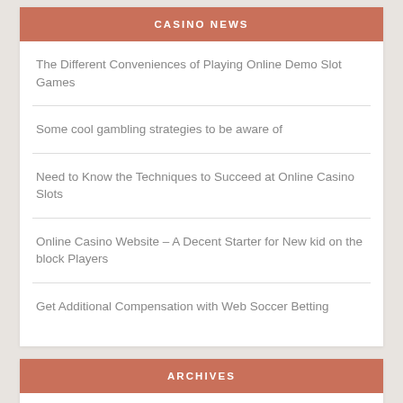CASINO NEWS
The Different Conveniences of Playing Online Demo Slot Games
Some cool gambling strategies to be aware of
Need to Know the Techniques to Succeed at Online Casino Slots
Online Casino Website – A Decent Starter for New kid on the block Players
Get Additional Compensation with Web Soccer Betting
ARCHIVES
September 2022